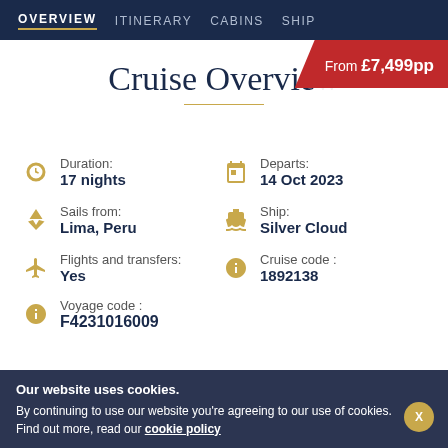OVERVIEW  ITINERARY  CABINS  SHIP
Cruise Overview
From £7,499pp
Duration:
17 nights
Departs:
14 Oct 2023
Sails from:
Lima, Peru
Ship:
Silver Cloud
Flights and transfers:
Yes
Cruise code :
1892138
Voyage code :
F4231016009
Our website uses cookies.
By continuing to use our website you're agreeing to our use of cookies. Find out more, read our cookie policy